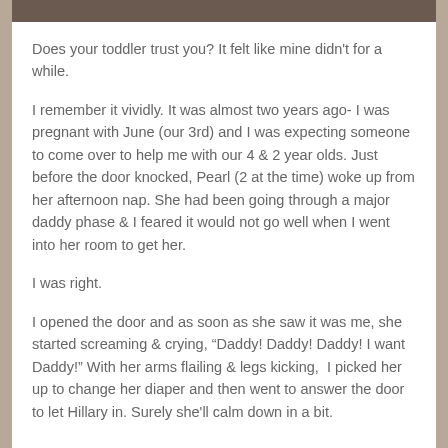[Figure (photo): Top strip of a photo showing people, partially visible at the top of the page]
Does your toddler trust you? It felt like mine didn't for a while.
I remember it vividly. It was almost two years ago- I was pregnant with June (our 3rd) and I was expecting someone to come over to help me with our 4 & 2 year olds. Just before the door knocked, Pearl (2 at the time) woke up from her afternoon nap. She had been going through a major daddy phase & I feared it would not go well when I went into her room to get her.
I was right.
I opened the door and as soon as she saw it was me, she started screaming & crying, “Daddy! Daddy! Daddy! I want Daddy!” With her arms flailing & legs kicking,  I picked her up to change her diaper and then went to answer the door to let Hillary in. Surely she'll calm down in a bit.